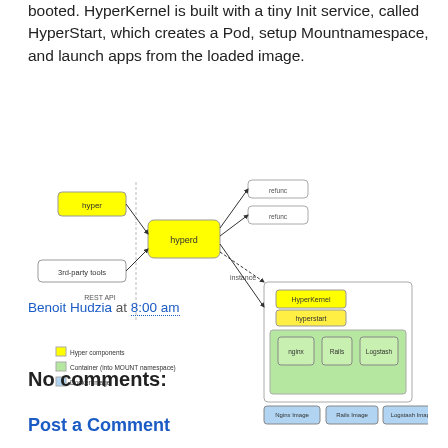booted. HyperKernel is built with a tiny Init service, called HyperStart, which creates a Pod, setup Mountnamespace, and launch apps from the loaded image.
[Figure (flowchart): Architecture diagram of Hyper components: hyper and 3rd-party tools connect via REST API to hyperd, which connects to instances (refunc boxes) and a VM containing HyperKernel, HyperStart, and containers (nginx, Rails, Logstash) with corresponding Docker Images (Nginx Image, Rails Image, Logstash Image). Legend shows Hyper components (yellow), Container (into MOUNT namespace) (green), Docker Image (blue).]
Benoit Hudzia at 8:00 am
Share
No comments:
Post a Comment